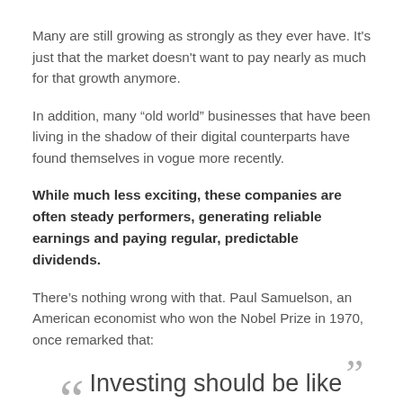Many are still growing as strongly as they ever have. It's just that the market doesn't want to pay nearly as much for that growth anymore.
In addition, many “old world” businesses that have been living in the shadow of their digital counterparts have found themselves in vogue more recently.
While much less exciting, these companies are often steady performers, generating reliable earnings and paying regular, predictable dividends.
There’s nothing wrong with that. Paul Samuelson, an American economist who won the Nobel Prize in 1970, once remarked that:
“Investing should be like watching paint dry or watching...